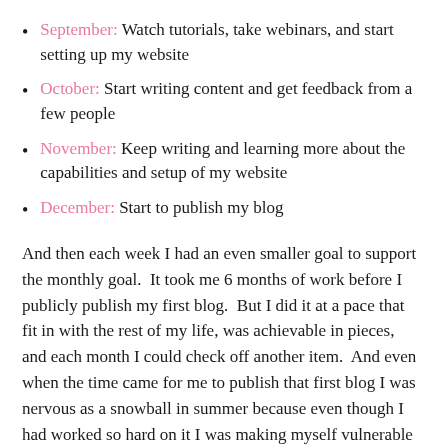September: Watch tutorials, take webinars, and start setting up my website
October: Start writing content and get feedback from a few people
November: Keep writing and learning more about the capabilities and setup of my website
December: Start to publish my blog
And then each week I had an even smaller goal to support the monthly goal.  It took me 6 months of work before I publicly publish my first blog.  But I did it at a pace that fit in with the rest of my life, was achievable in pieces, and each month I could check off another item.  And even when the time came for me to publish that first blog I was nervous as a snowball in summer because even though I had worked so hard on it I was making myself vulnerable in new ways.  I was more open to feedback and